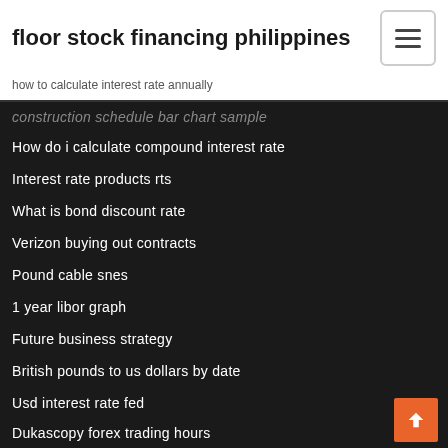floor stock financing philippines
how to calculate interest rate annually
construction schedule bar chart sample
How do i calculate compound interest rate
Interest rate products rts
What is bond discount rate
Verizon buying out contracts
Pound cable snes
1 year libor graph
Future business strategy
British pounds to us dollars by date
Usd interest rate fed
Dukascopy forex trading hours